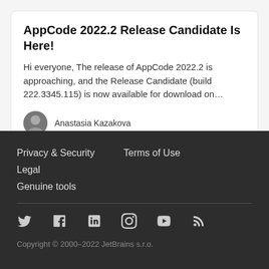AppCode 2022.2 Release Candidate Is Here!
Hi everyone, The release of AppCode 2022.2 is approaching, and the Release Candidate (build 222.3345.115) is now available for download on…
Anastasia Kazakova
Privacy & Security   Terms of Use   Legal
Genuine tools
[Figure (illustration): Social media icons: Twitter, Facebook, LinkedIn, Instagram, YouTube, RSS]
Copyright © 2000–2022 JetBrains s.r.o.